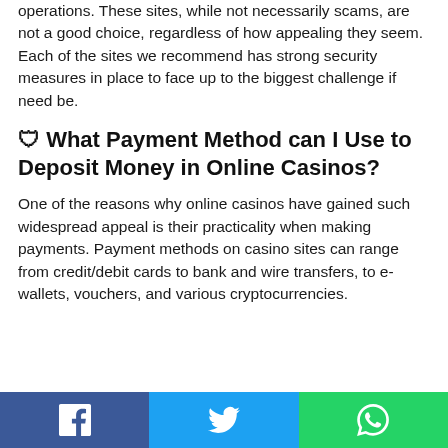operations. These sites, while not necessarily scams, are not a good choice, regardless of how appealing they seem. Each of the sites we recommend has strong security measures in place to face up to the biggest challenge if need be.
🛡 What Payment Method can I Use to Deposit Money in Online Casinos?
One of the reasons why online casinos have gained such widespread appeal is their practicality when making payments. Payment methods on casino sites can range from credit/debit cards to bank and wire transfers, to e-wallets, vouchers, and various cryptocurrencies.
Share buttons: Facebook, Twitter, WhatsApp